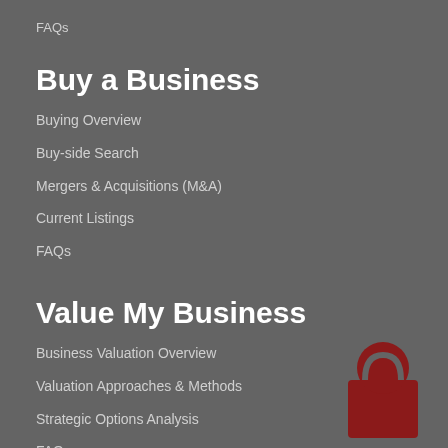FAQs
Buy a Business
Buying Overview
Buy-side Search
Mergers & Acquisitions (M&A)
Current Listings
FAQs
Value My Business
Business Valuation Overview
Valuation Approaches & Methods
Strategic Options Analysis
FAQs
[Figure (logo): Dark red/maroon company logo mark in bottom right corner]